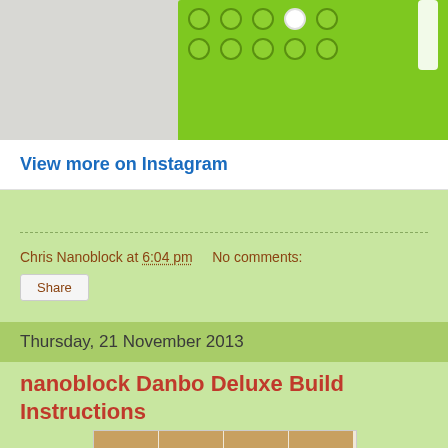[Figure (photo): Partial view of a green LEGO brick plate against a light gray background, cropped at top of page]
View more on Instagram
Chris Nanoblock at 6:04 pm   No comments:
Share
Thursday, 21 November 2013
nanoblock Danbo Deluxe Build Instructions
[Figure (photo): Strip of four thumbnail images showing a Danbo robot figure and tan/brown LEGO-style bricks with white piece]